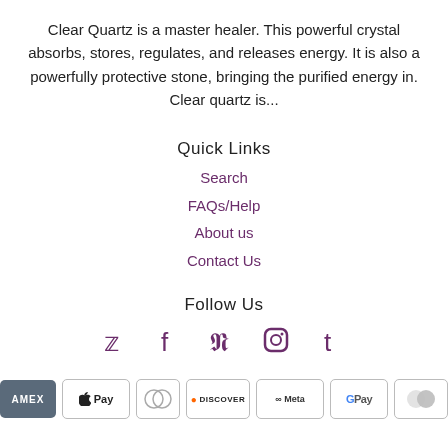Clear Quartz is a master healer. This powerful crystal absorbs, stores, regulates, and releases energy. It is also a powerfully protective stone, bringing the purified energy in. Clear quartz is...
Quick Links
Search
FAQs/Help
About us
Contact Us
Follow Us
[Figure (infographic): Social media icons: Twitter, Facebook, Pinterest, Instagram, Tumblr in purple color]
[Figure (infographic): Payment method badges: AMEX, Apple Pay, Diners Club, Discover, Meta Pay, Google Pay, Mastercard]